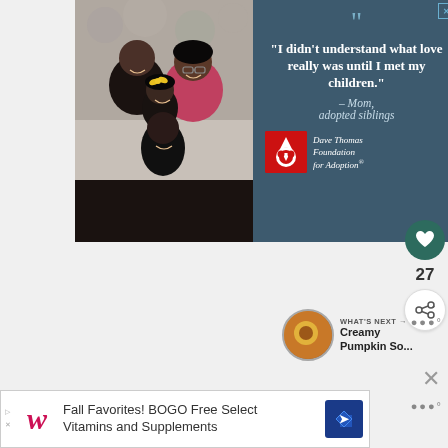[Figure (infographic): Advertisement for Dave Thomas Foundation for Adoption. Left side shows photo of a Black family (man, woman, and two children) smiling together. Right side has dark blue-gray panel with large quote marks, text quote, attribution, and Dave Thomas Foundation for Adoption logo.]
“I didn’t understand what love really was until I met my children.” – Mom, adopted siblings
Dave Thomas Foundation for Adoption
[Figure (infographic): Heart (like) button with count 27, and share button icons on right sidebar]
27
WHAT'S NEXT → Creamy Pumpkin So...
[Figure (infographic): Bottom advertisement banner for Walgreens: Fall Favorites! BOGO Free Select Vitamins and Supplements]
Fall Favorites! BOGO Free Select Vitamins and Supplements